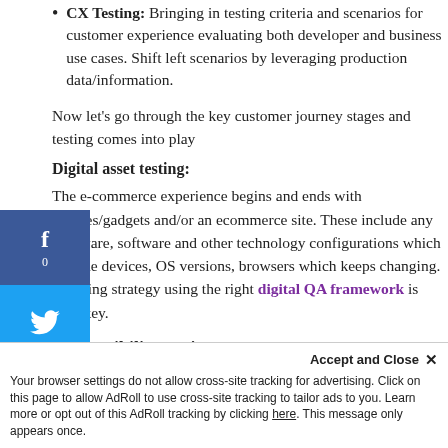CX Testing: Bringing in testing criteria and scenarios for customer experience evaluating both developer and business use cases. Shift left scenarios by leveraging production data/information.
Now let's go through the key customer journey stages and testing comes into play
Digital asset testing:
The e-commerce experience begins and ends with devices/gadgets and/or an ecommerce site. These include any hardware, software and other technology configurations which include devices, OS versions, browsers which keeps changing. A testing strategy using the right digital QA framework is very key.
Compatibility testing
(blurred content below)
Your browser settings do not allow cross-site tracking for advertising. Click on this page to allow AdRoll to use cross-site tracking to tailor ads to you. Learn more or opt out of this AdRoll tracking by clicking here. This message only appears once.